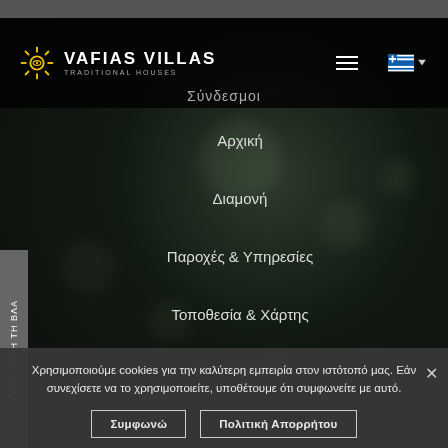[Figure (screenshot): Vafias Villas Traditional Houses website screenshot showing navigation menu open with Greek text links]
VAFIAS VILLAS TRADITIONAL HOUSES
Σύνδεσμοι
Αρχική
Διαμονή
Παροχές & Υπηρεσίες
Τοποθεσία & Χάρτης
Φωτογραφίες
Γιατί αυτή τη βλα
Χρησιμοποιούμε cookies για την καλύτερη εμπειρία στον ιστότοπό μας. Εάν συνεχίσετε να το χρησιμοποιείτε, υποθέτουμε ότι συμφωνείτε με αυτό.
Συμφωνώ
Πολιτική Απορρήτου